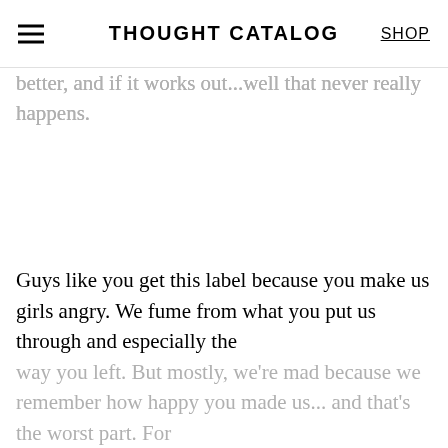THOUGHT CATALOG | SHOP
better, and if it works out...well that never really happens.
Guys like you get this label because you make us girls angry. We fume from what you put us through and especially the way you left. But mostly, we're mad because we remember how happy you made us... and that's the worst part. For